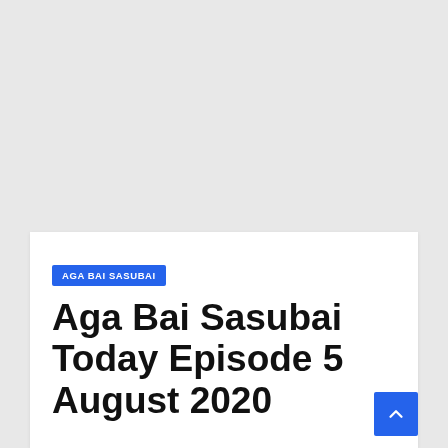AGA BAI SASUBAI
Aga Bai Sasubai Today Episode 5 August 2020